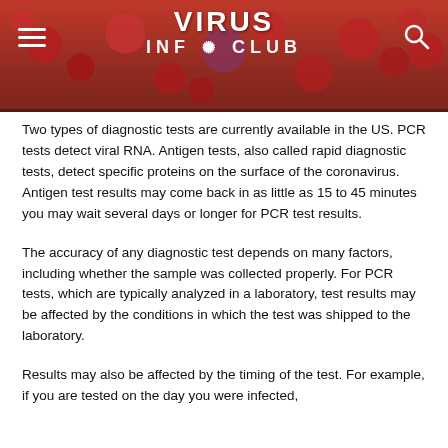VIRUS INF★ CLUB
Two types of diagnostic tests are currently available in the US. PCR tests detect viral RNA. Antigen tests, also called rapid diagnostic tests, detect specific proteins on the surface of the coronavirus. Antigen test results may come back in as little as 15 to 45 minutes you may wait several days or longer for PCR test results.
The accuracy of any diagnostic test depends on many factors, including whether the sample was collected properly. For PCR tests, which are typically analyzed in a laboratory, test results may be affected by the conditions in which the test was shipped to the laboratory.
Results may also be affected by the timing of the test. For example, if you are tested on the day you were infected, your test result is almost guaranteed to come back negative.